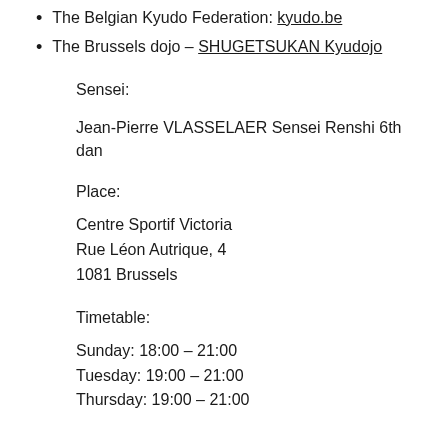The Belgian Kyudo Federation: kyudo.be
The Brussels dojo – SHUGETSUKAN Kyudojo
Sensei:
Jean-Pierre VLASSELAER Sensei Renshi 6th dan
Place:
Centre Sportif Victoria
Rue Léon Autrique, 4
1081 Brussels
Timetable:
Sunday: 18:00 – 21:00
Tuesday: 19:00 – 21:00
Thursday: 19:00 – 21:00